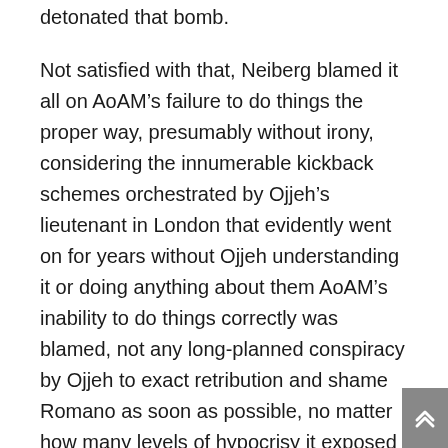detonated that bomb.
Not satisfied with that, Neiberg blamed it all on AoAM’s failure to do things the proper way, presumably without irony, considering the innumerable kickback schemes orchestrated by Ojjeh’s lieutenant in London that evidently went on for years without Ojjeh understanding it or doing anything about them AoAM’s inability to do things correctly was blamed, not any long-planned conspiracy by Ojjeh to exact retribution and shame Romano as soon as possible, no matter how many levels of hypocrisy it exposed on Ojjeh’s side.
A couple of years ago, Alex Ojjeh began to feel that the former Romano who he plucked from obscurity and groomed to take over his namesake hedge fund